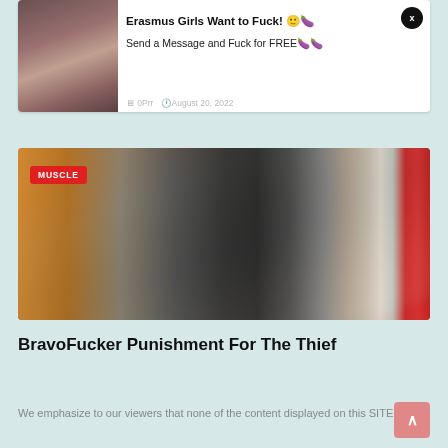[Figure (photo): Advertisement card with a woman's photo on the left and text on the right reading 'Erasmus Girls Want to Fuck! Send a Message and Fuck for FREE' with a close X button and metadata showing 'August 20, 2022']
[Figure (photo): Article thumbnail image of a convenience store interior with a person in a black t-shirt standing at a counter. A red MUSCLE badge is overlaid in the top-left corner.]
BravoFucker Punishment For The Thief
We emphasize to our viewers that none of the content displayed on this SITE